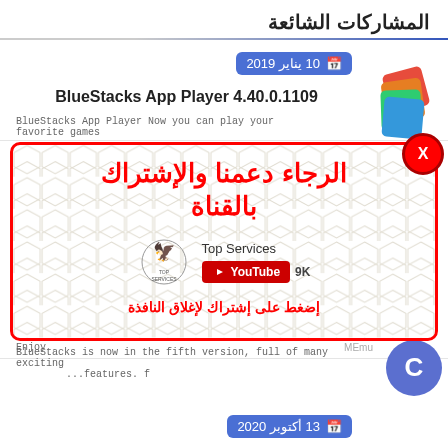المشاركات الشائعة
10 يناير 2019
BlueStacks App Player 4.40.0.1109
BlueStacks App Player Now you can play your favorite games
[Figure (screenshot): Popup overlay with Arabic text and YouTube channel subscription prompt. Contains: title 'الرجاء دعمنا والإشتراك بالقناة', Top Services logo, YouTube button with 9K subscribers, and call to action 'إضغط على إشتراك لإغلاق النافذة'. Red border, hexagon pattern background.]
BlueStacks is now in the fifth version, full of many exciting features. f
13 أكتوبر 2020